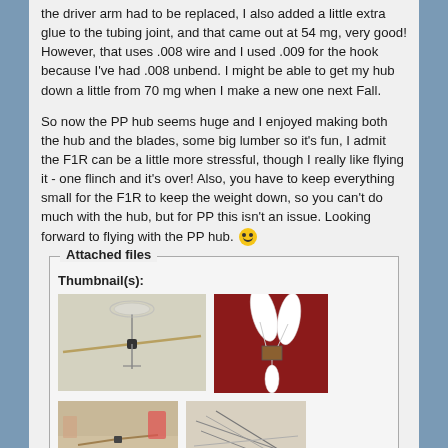the driver arm had to be replaced, I also added a little extra glue to the tubing joint, and that came out at 54 mg, very good! However, that uses .008 wire and I used .009 for the hook because I've had .008 unbend. I might be able to get my hub down a little from 70 mg when I make a new one next Fall.
So now the PP hub seems huge and I enjoyed making both the hub and the blades, some big lumber so it's fun, I admit the F1R can be a little more stressful, though I really like flying it - one flinch and it's over! Also, you have to keep everything small for the F1R to keep the weight down, so you can't do much with the hub, but for PP this isn't an issue. Looking forward to flying with the PP hub. 🙂
Attached files
Thumbnail(s):
[Figure (photo): Photo of a model airplane on a light surface, showing a small black mechanism in the center with long thin wings extending outward.]
[Figure (photo): Photo of a model airplane hub/blades on a red background, showing white blade shapes with connecting wires.]
[Figure (photo): Photo of a model airplane on a table in what appears to be a workshop setting.]
[Figure (photo): Photo of thin wires or carbon rods on a light surface.]